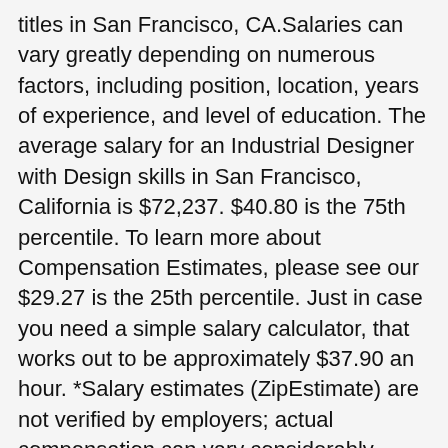titles in San Francisco, CA.Salaries can vary greatly depending on numerous factors, including position, location, years of experience, and level of education. The average salary for an Industrial Designer with Design skills in San Francisco, California is $72,237. $40.80 is the 75th percentile. To learn more about Compensation Estimates, please see our $29.27 is the 25th percentile. Just in case you need a simple salary calculator, that works out to be approximately $37.90 an hour. *Salary estimates (ZipEstimate) are not verified by employers; actual compensation can vary considerably. Salaries below this are outliers. Instructional Designer salaries, benefits packages, yearly bonuses, job descriptions, statistics and available positions. Salaries above this are outliers. Visit PayScale to research industrial designer salaries by city, experience, skill, employer and more. $105,946 is the 90th percentile. To estimate the most accurate annual salary range for Industrial Designer jobs, ZipRecruiter continuously scans its database of millions of active jobs published locally throughout America. 81 Industrial